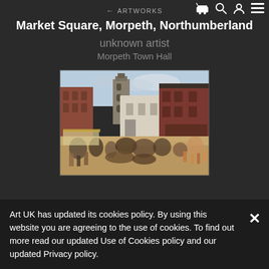← ARTWORKS
Market Square, Morpeth, Northumberland
unknown artist
Morpeth Town Hall
[Figure (photo): Oil painting of Market Square, Morpeth, Northumberland, showing a busy market scene with buildings including a church tower, red brick buildings, and crowds of people and animals in the foreground square.]
Art UK has updated its cookies policy. By using this website you are agreeing to the use of cookies. To find out more read our updated Use of Cookies policy and our updated Privacy policy.